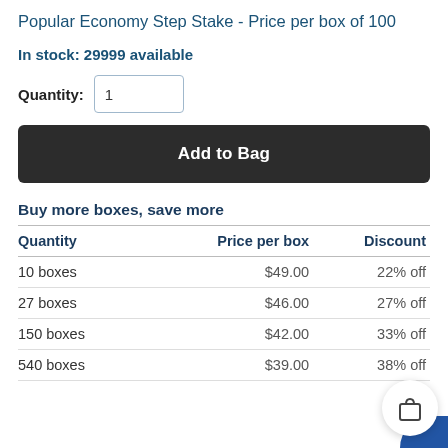Popular Economy Step Stake - Price per box of 100
In stock: 29999 available
Quantity: 1
Add to Bag
Buy more boxes, save more
| Quantity | Price per box | Discount |
| --- | --- | --- |
| 10 boxes | $49.00 | 22% off |
| 27 boxes | $46.00 | 27% off |
| 150 boxes | $42.00 | 33% off |
| 540 boxes | $39.00 | 38% off |